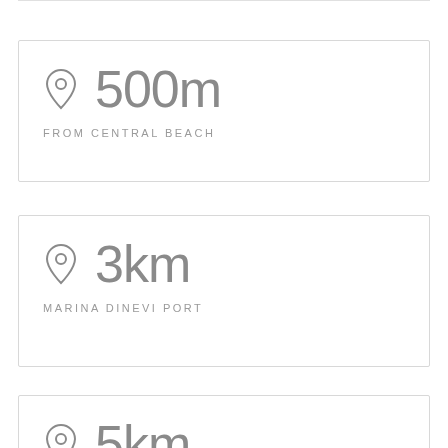[Figure (infographic): Location pin icon with distance 500m and label FROM CENTRAL BEACH]
500m
FROM CENTRAL BEACH
[Figure (infographic): Location pin icon with distance 3km and label MARINA DINEVI PORT]
3km
MARINA DINEVI PORT
[Figure (infographic): Location pin icon with distance 5km and label OLD TOWN OF NESSEBAR]
5km
OLD TOWN OF NESSEBAR